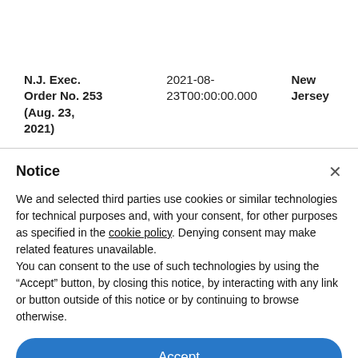|  |  |  |
| --- | --- | --- |
| N.J. Exec. Order No. 253 (Aug. 23, 2021) | 2021-08-23T00:00:00.000 | New Jersey |
Notice
We and selected third parties use cookies or similar technologies for technical purposes and, with your consent, for other purposes as specified in the cookie policy. Denying consent may make related features unavailable.
You can consent to the use of such technologies by using the "Accept" button, by closing this notice, by interacting with any link or button outside of this notice or by continuing to browse otherwise.